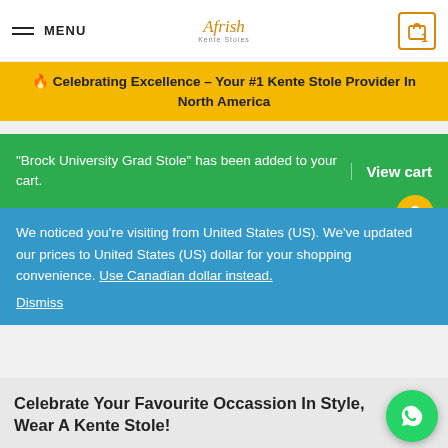MENU | Afrish logo | Cart (1)
🔥 Celebrating Excellence – Your #1 Kente Stole Provider In North America
"Brock University Grad Stole" has been added to your cart. | View cart
We noticed you're visiting from United States (US). We've updated our prices to United States (US) dollar for your shopping convenience. Use Canadian dollar instead. Dismiss
Celebrate Your Favourite Occassion In Style, Wear A Kente Stole!